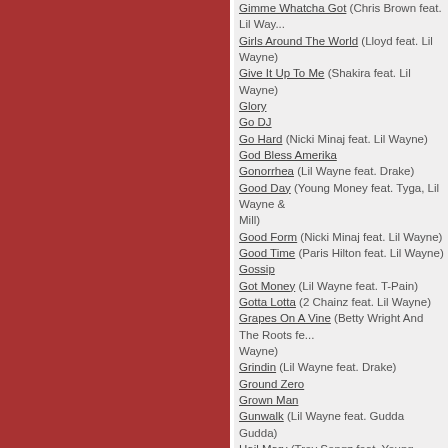Gimme Whatcha Got (Chris Brown feat. Lil Wayne)
Girls Around The World (Lloyd feat. Lil Wayne)
Give It Up To Me (Shakira feat. Lil Wayne)
Glory
Go DJ
Go Hard (Nicki Minaj feat. Lil Wayne)
God Bless Amerika
Gonorrhea (Lil Wayne feat. Drake)
Good Day (Young Money feat. Tyga, Lil Wayne & Meek Mill)
Good Form (Nicki Minaj feat. Lil Wayne)
Good Time (Paris Hilton feat. Lil Wayne)
Gossip
Got Money (Lil Wayne feat. T-Pain)
Gotta Lotta (2 Chainz feat. Lil Wayne)
Grapes On A Vine (Betty Wright And The Roots feat. Lil Wayne)
Grindin (Lil Wayne feat. Drake)
Ground Zero
Grown Man
Gunwalk (Lil Wayne feat. Gudda Gudda)
Hail Mary (Trey Songz feat. Young Jeezy & Lil Wayne)
Harden
Heard 'em All (Amerie feat. Lil Wayne)
Hell Rain (Trippie Redd feat. Lil Wayne & Hoodybaby)
Hello (Stafford Brothers feat. Lil Wayne & Christina Milian)
Hello (Lil Wayne feat. Shane Heyl)
Hello Brooklyn 2.0 (Jay-Z feat. Lil Wayne)
High School (Nicki Minaj feat. Lil Wayne)
Hit Em Up
Hit The Lights (Jay Sean feat. Lil Wayne)
Hittas
Hoes
Hold Up (Lil Wayne feat. T Streets)
Holding (Lloyd feat. Lil Wayne)
Holla At Me (DJ Khaled feat. Lil Wayne, Paul Wall, Fat Joe, Rick Ross & Pitbull)